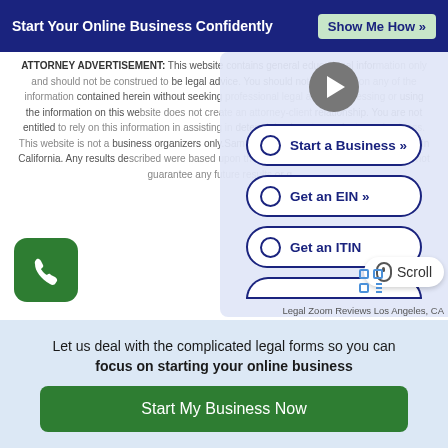Start Your Online Business Confidently   Show Me How »
ATTORNEY ADVERTISEMENT: This website contains general educational information only and should not be construed to be legal advice. You should not act or rely on any of the information contained herein without seeking professional legal advice. Accessing or using the information on this website does not create an attorney-client relationship. You are not entitled to rely on this information in assisting in determining how to conduct your business. This website is not a law firm, business organizers only. Sam Mo... is a licensed attorney with offices in California. Any results described were based upon the facts of that particular case and do not guarantee any future results or o...
[Figure (screenshot): Overlay panel with play button, navigation menu buttons: Start a Business, Get an EIN, Get an ITIN, a scroll indicator badge, phone button, and LegalZoom label]
Legal Zoom Reviews Los Angeles, CA
Let us deal with the complicated legal forms so you can focus on starting your online business
Start My Business Now